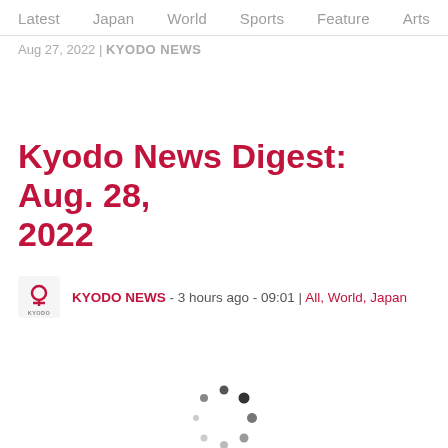Latest  Japan  World  Sports  Feature  Arts
Aug 27, 2022 | KYODO NEWS
Kyodo News Digest: Aug. 28, 2022
KYODO NEWS - 3 hours ago - 09:01 | All, World, Japan
[Figure (other): Loading spinner animation — circular arrangement of dots in dark grey]